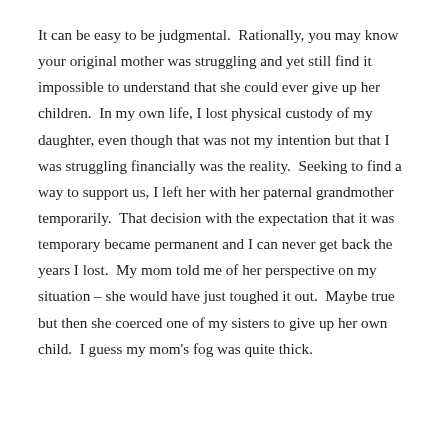It can be easy to be judgmental.  Rationally, you may know your original mother was struggling and yet still find it impossible to understand that she could ever give up her children.  In my own life, I lost physical custody of my daughter, even though that was not my intention but that I was struggling financially was the reality.  Seeking to find a way to support us, I left her with her paternal grandmother temporarily.  That decision with the expectation that it was temporary became permanent and I can never get back the years I lost.  My mom told me of her perspective on my situation – she would have just toughed it out.  Maybe true but then she coerced one of my sisters to give up her own child.  I guess my mom's fog was quite thick.